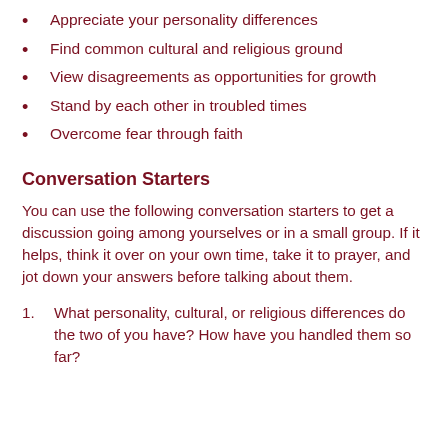Appreciate your personality differences
Find common cultural and religious ground
View disagreements as opportunities for growth
Stand by each other in troubled times
Overcome fear through faith
Conversation Starters
You can use the following conversation starters to get a discussion going among yourselves or in a small group. If it helps, think it over on your own time, take it to prayer, and jot down your answers before talking about them.
1.      What personality, cultural, or religious differences do the two of you have? How have you handled them so far?